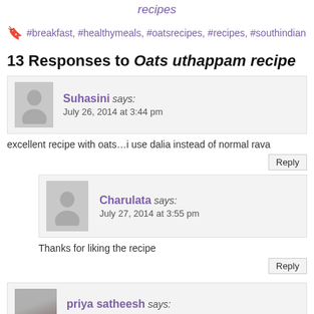recipes
#breakfast, #healthymeals, #oatsrecipes, #recipes, #southindian
13 Responses to Oats uthappam recipe
Suhasini says: July 26, 2014 at 3:44 pm
excellent recipe with oats…i use dalia instead of normal rava
Reply
Charulata says: July 27, 2014 at 3:55 pm
Thanks for liking the recipe
Reply
priya satheesh says: July 27, 2014 at 6:02 am